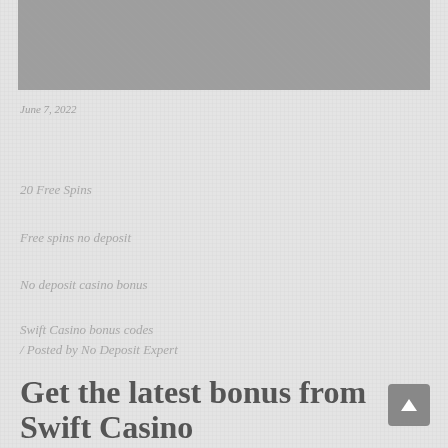[Figure (photo): Gray banner/hero image at the top of the page]
June 7, 2022
20 Free Spins
Free spins no deposit
No deposit casino bonus
Swift Casino bonus codes
/ Posted by No Deposit Expert
Get the latest bonus from Swift Casino